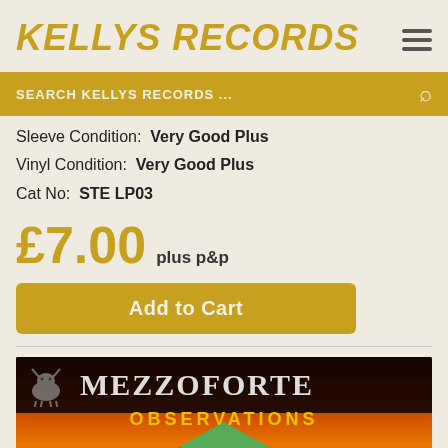KELLYS RECORDS
SEARCH KELLYS RECORDS ...
Sleeve Condition:  Very Good Plus
Vinyl Condition:  Very Good Plus
Cat No:  STE LP03
£7.00 plus p&p
Add to Cart
[Figure (photo): Album cover of Mezzoforte - Observations LP. Dark top bar with band name MEZZOFORTE in large grey letters and a bull logo on the left. Below in yellow letters: OBSERVATIONS. Background shows an orange/red sunset sky with a green 3D geometric cube shape and a small yellow sun.]